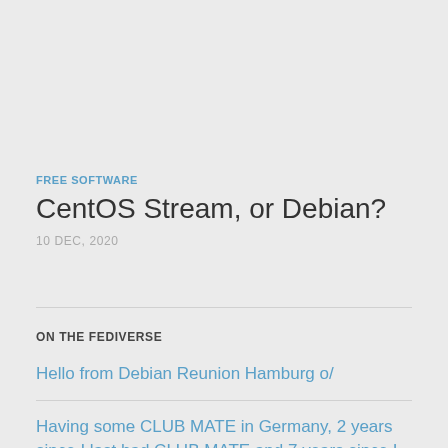FREE SOFTWARE
CentOS Stream, or Debian?
10 DEC, 2020
ON THE FEDIVERSE
Hello from Debian Reunion Hamburg o/
Having some CLUB MATE in Germany, 2 years since I last had CLUB MATE and 7 years since I was last...